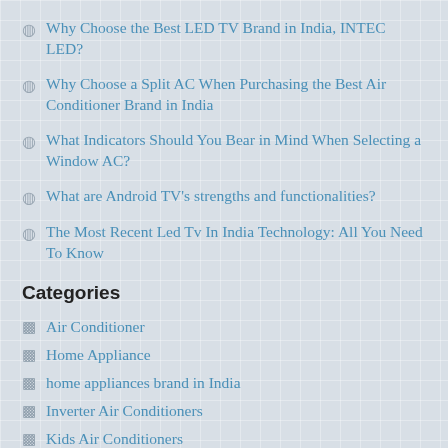Why Choose the Best LED TV Brand in India, INTEC LED?
Why Choose a Split AC When Purchasing the Best Air Conditioner Brand in India
What Indicators Should You Bear in Mind When Selecting a Window AC?
What are Android TV's strengths and functionalities?
The Most Recent Led Tv In India Technology: All You Need To Know
Categories
Air Conditioner
Home Appliance
home appliances brand in India
Inverter Air Conditioners
Kids Air Conditioners